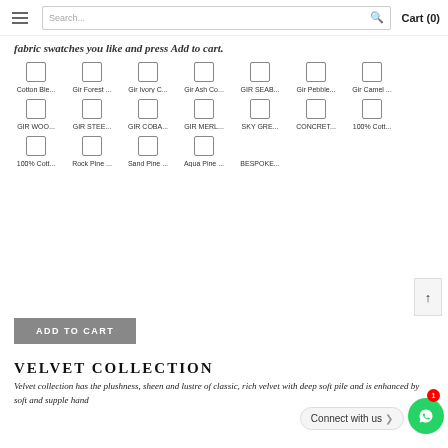Search... Cart (0)
fabric swatches you like and press Add to cart.
[Figure (screenshot): Grid of fabric swatch checkboxes with labels: Cotton Ble..., Gir Forest ..., Gir Ivory C..., Gir Ash Co..., GIR SEAB..., Gir Pebble..., Gir Camel ..., GIR WOO..., GIR STEE..., GIR COBA..., GIR MERL..., SKY GRE..., CONCRET..., 100% Cott..., 100% Cott..., Rock Pine ..., Sand Pine ..., Aqua Pine ..., BESPOKE...]
ADD TO CART
VELVET COLLECTION
Velvet collection has the plushness, sheen and lustre of classic, rich velvet with deep soft pile and is enhanced by soft and supple hand